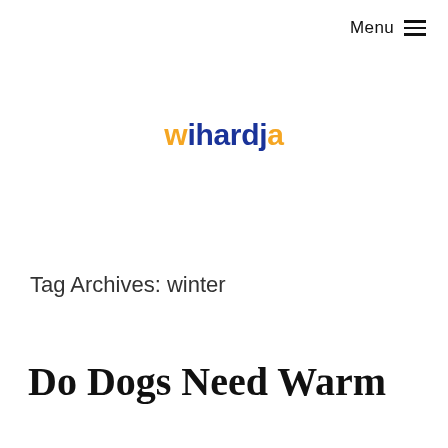Menu ≡
[Figure (logo): wihardja logo — 'w' in orange, 'ihardja' in dark blue, bold sans-serif font]
Tag Archives: winter
Do Dogs Need Warm